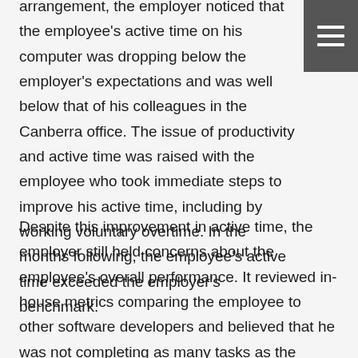arrangement, the employer noticed that the employee's active time on his computer was dropping below the employer's expectations and was well below that of his colleagues in the Canberra office. The issue of productivity and active time was raised with the employee who took immediate steps to improve his active time, including by working voluntary overtime. In the months following, the employee's active time exceeded the employer's benchmark.
Despite this improvement in active time, the employer still held concerns about the employee's overall performance. It reviewed in-house metrics comparing the employee to other software developers and believed that he was not completing as many tasks as the software developers based in the office.